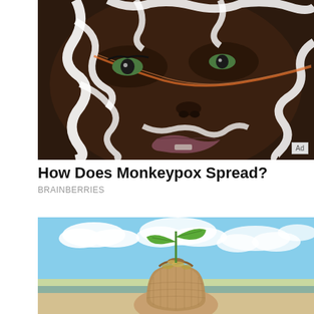[Figure (photo): Close-up photo of a dark-skinned woman's face with white face paint patterns resembling a marble or organic shape design, with dramatic eye makeup. An orange glowing light streak crosses the face. Small 'Ad' badge in bottom right corner.]
How Does Monkeypox Spread?
BRAINBERRIES
[Figure (photo): Photo of a hand holding a burlap money bag filled with coins, from which a green seedling/plant sprout grows, against a backdrop of a beach and cloudy sky.]